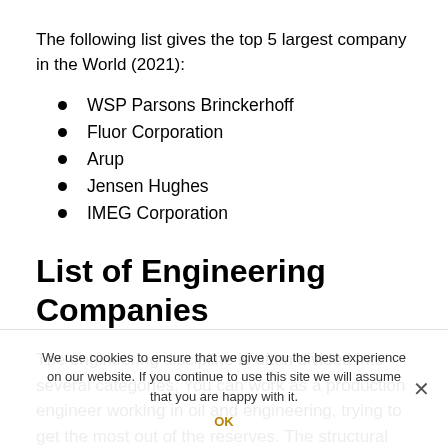The following list gives the top 5 largest company in the World (2021):
WSP Parsons Brinckerhoff
Fluor Corporation
Arup
Jensen Hughes
IMEG Corporation
List of Engineering Companies
The engineering discipline is often divided into several categories. You can work as a production engineer working in oil and engineering, trying to get the most out of the reserves. The structural engineer design and analysis the subsea structures. A drilling engineer works with drilling operations and completes...
We use cookies to ensure that we give you the best experience on our website. If you continue to use this site we will assume that you are happy with it.